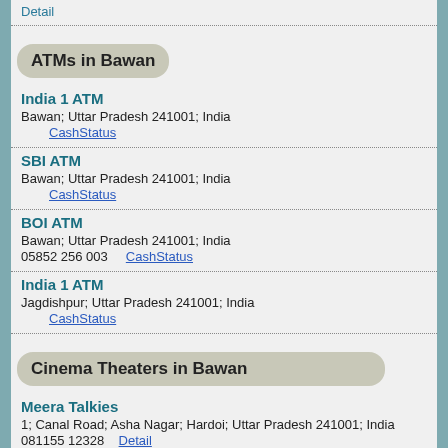Detail
ATMs in Bawan
India 1 ATM
Bawan; Uttar Pradesh 241001; India
CashStatus
SBI ATM
Bawan; Uttar Pradesh 241001; India
CashStatus
BOI ATM
Bawan; Uttar Pradesh 241001; India
05852 256 003   CashStatus
India 1 ATM
Jagdishpur; Uttar Pradesh 241001; India
CashStatus
Cinema Theaters in Bawan
Meera Talkies
1; Canal Road; Asha Nagar; Hardoi; Uttar Pradesh 241001; India
081155 12328   Detail